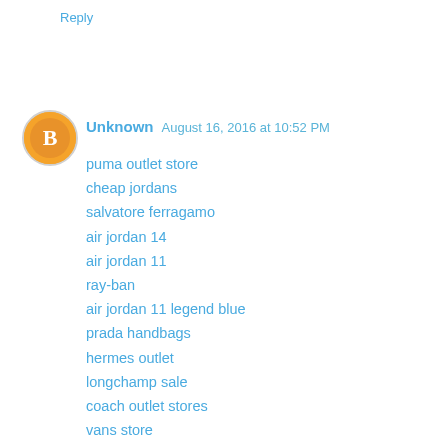Reply
Unknown  August 16, 2016 at 10:52 PM
puma outlet store
cheap jordans
salvatore ferragamo
air jordan 14
air jordan 11
ray-ban
air jordan 11 legend blue
prada handbags
hermes outlet
longchamp sale
coach outlet stores
vans store
burberry outlet
joe's new balance
hermes belt
michael kors outlet store
longchamp
nike air max shoes